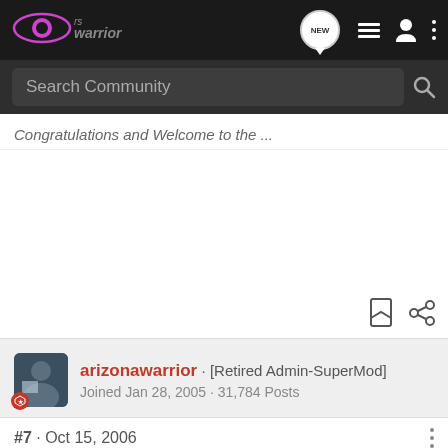rs warrior — navigation bar with NEW chat, list, user, and menu icons
Search Community
Congratulations and Welcome to the ...
arizonawarrior · [Retired Admin-SuperMod]
Joined Jan 28, 2005 · 31,784 Posts
#7 · Oct 15, 2006
Welcome ... he best roads to ... o we